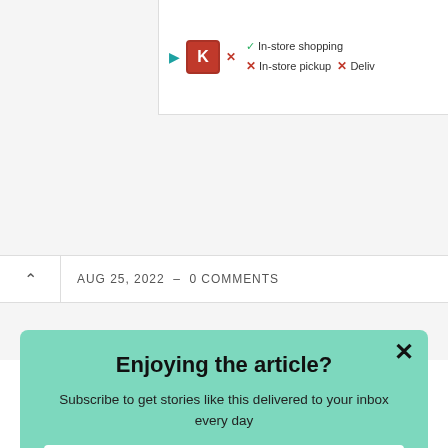[Figure (screenshot): Ad banner at top right showing in-store shopping checkmark, in-store pickup X, and Delivery X, with CK logo icon]
AUG 25, 2022  -  0 COMMENTS
Enjoying the article?
Subscribe to get stories like this delivered to your inbox every day
Enter your email
Subscribe
powered by MailMunch